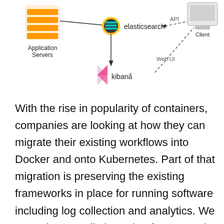[Figure (network-graph): Architecture diagram showing Application Servers (AWS icon) connected to Elasticsearch, which connects to Kibana below it. Elasticsearch is connected via dashed 'API' line to a Client (monitor icon), and via dashed 'Web UI' line from Kibana to Client.]
With the rise in popularity of containers, companies are looking at how they can migrate their existing workflows into Docker and onto Kubernetes. Part of that migration is preserving the existing frameworks in place for running software including log collection and analytics. We are going to walk through a few examples of how you can collect and ship your Docker Container logs running on Kubernetes to your